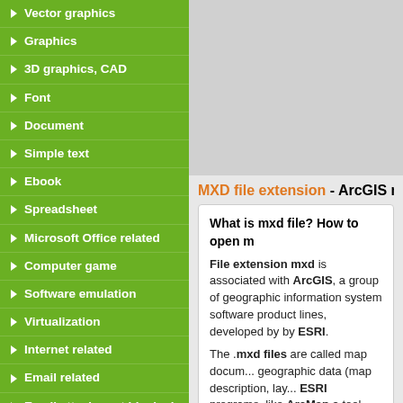Vector graphics
Graphics
3D graphics, CAD
Font
Document
Simple text
Ebook
Spreadsheet
Microsoft Office related
Computer game
Software emulation
Virtualization
Internet related
Email related
Email attachment blocked
Dangerous and malicious
Ransomware encrypted
[Figure (other): Advertisement placeholder area]
MXD file extension - ArcGIS m
What is mxd file? How to open m
File extension mxd is associated with ArcGIS, a group of geographic information system software product lines, developed by by ESRI. The .mxd files are called map documents and contain geographic data (map description, lay... ESRI programs, like ArcMap a tool for geospatial data distributed as a part o...
The default software associated